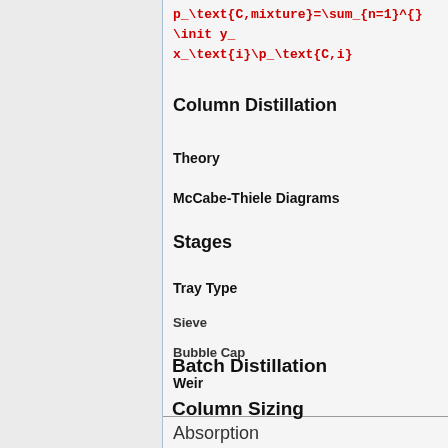Column Distillation
Theory
McCabe-Thiele Diagrams
Stages
Tray Type
Sieve
Bubble Cap
Weir
Batch Distillation
Column Sizing
Absorption